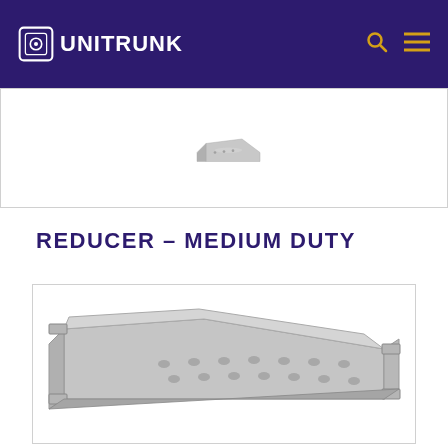UNITRUNK
[Figure (photo): Partial view of a metal cable tray reducer component on white background]
REDUCER – MEDIUM DUTY
[Figure (photo): Metal cable tray reducer – medium duty product, silver/grey perforated cable tray reducer fitting with mounting flanges, shown at an angle on white background]